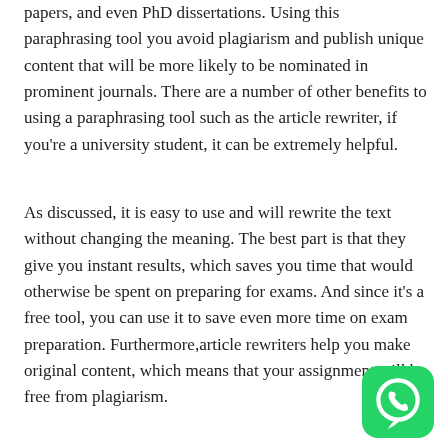papers, and even PhD dissertations. Using this paraphrasing tool you avoid plagiarism and publish unique content that will be more likely to be nominated in prominent journals. There are a number of other benefits to using a paraphrasing tool such as the article rewriter, if you're a university student, it can be extremely helpful.
As discussed, it is easy to use and will rewrite the text without changing the meaning. The best part is that they give you instant results, which saves you time that would otherwise be spent on preparing for exams. And since it's a free tool, you can use it to save even more time on exam preparation. Furthermore,article rewriters help you make original content, which means that your assignment will be free from plagiarism.
[Figure (logo): WhatsApp logo icon — green rounded square with white phone handset in speech bubble]